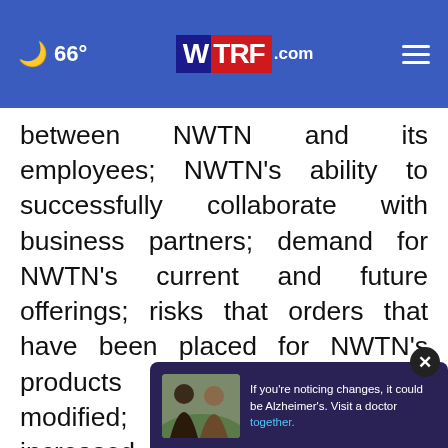66° WTRF.com [navigation menu]
between NWTN and its employees; NWTN's ability to successfully collaborate with business partners; demand for NWTN's current and future offerings; risks that orders that have been placed for NWTN's products are cancelled or modified; risks related to increased competition; risks relating to potential disruption in the transportation and shipping infrastructure, including trade policies and export controls; risks that NWTN is unable to secure or protect its i[ntelecual property / product ...]
[Figure (photo): Advertisement overlay: two people (silhouettes/photo) with text 'If you're noticing changes, it could be Alzheimer's. Visit a doctor together.' with a close button (X)]